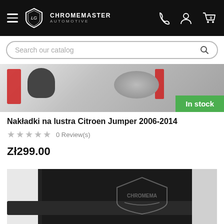[Figure (screenshot): Chromemaster Automotive website header with hamburger menu, logo, and icons for phone, account, and cart (0 items)]
[Figure (photo): Car side mirror photo with red accents showing chrome mirror cover product. Green 'In stock' badge in bottom right corner.]
Nakładki na lustra Citroen Jumper 2006-2014
★★★★★ 0 Review(s)
Zł299.00
[Figure (photo): Car door sill area showing black protective sill guard, white car body, and Chromemaster logo watermark on dark background.]